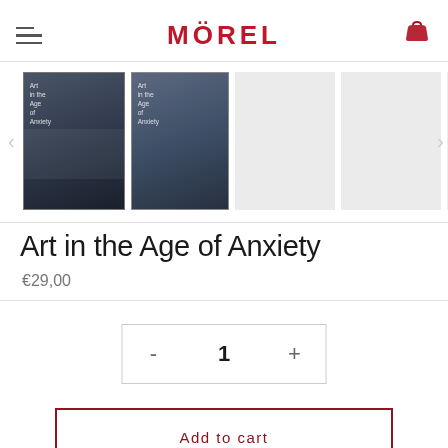MÖREL
[Figure (photo): Thumbnail strip showing two book covers for 'Art in the Age of Anxiety' plus three gray placeholder thumbnail slots with navigation arrows]
Art in the Age of Anxiety
€29,00
- 1 +
Add to cart